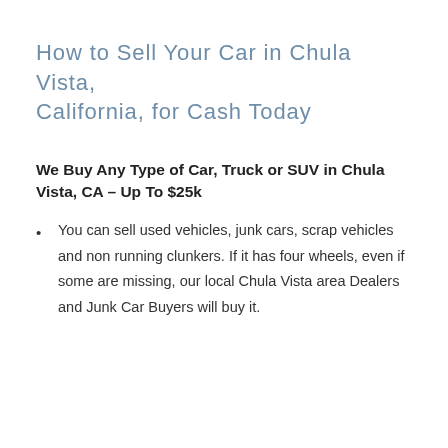How to Sell Your Car in Chula Vista, California, for Cash Today
We Buy Any Type of Car, Truck or SUV in Chula Vista, CA – Up To $25k
You can sell used vehicles, junk cars, scrap vehicles and non running clunkers. If it has four wheels, even if some are missing, our local Chula Vista area Dealers and Junk Car Buyers will buy it.